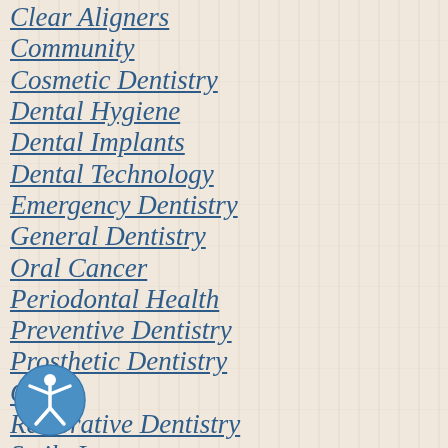Clear Aligners
Community
Cosmetic Dentistry
Dental Hygiene
Dental Implants
Dental Technology
Emergency Dentistry
General Dentistry
Oral Cancer
Periodontal Health
Preventive Dentistry
Prosthetic Dentistry
Q&A
Restorative Dentistry
Smile Improvement
Tips/Advice
Tooth Decay/Cavities
Tooth Loss/Extraction
Tooth Replacement
Uncategorized